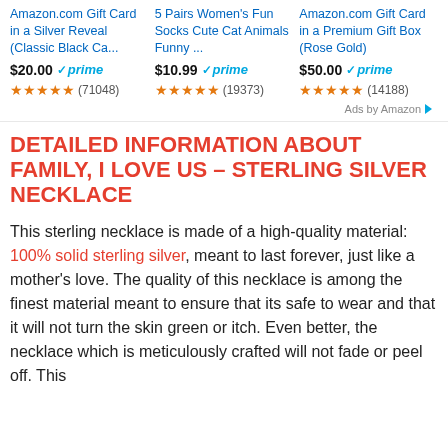[Figure (screenshot): Amazon product ad grid showing three products: Amazon.com Gift Card in a Silver Reveal (Classic Black Ca...) at $20.00 prime with 71048 reviews, 5 Pairs Women's Fun Socks Cute Cat Animals Funny ... at $10.99 prime with 19373 reviews, Amazon.com Gift Card in a Premium Gift Box (Rose Gold) at $50.00 prime with 14188 reviews. 'Ads by Amazon' label in bottom right.]
DETAILED INFORMATION ABOUT FAMILY, I LOVE US – STERLING SILVER NECKLACE
This sterling necklace is made of a high-quality material: 100% solid sterling silver, meant to last forever, just like a mother's love. The quality of this necklace is among the finest material meant to ensure that its safe to wear and that it will not turn the skin green or itch. Even better, the necklace which is meticulously crafted will not fade or peel off. This